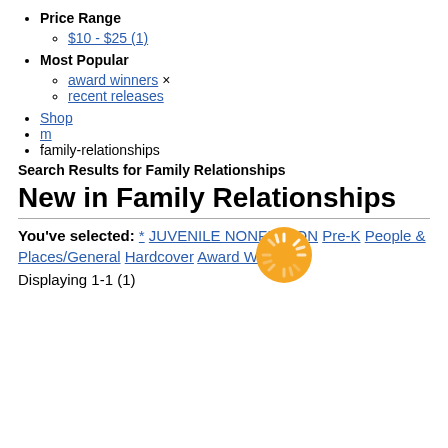Price Range
$10 - $25 (1)
Most Popular
award winners ×
recent releases
Shop
m
family-relationships
[Figure (infographic): Orange spinning/loading indicator icon]
Search Results for Family Relationships
New in Family Relationships
You've selected: * JUVENILE NONFICTION Pre-K People & Places/General Hardcover Award Winners
Displaying 1-1 (1)